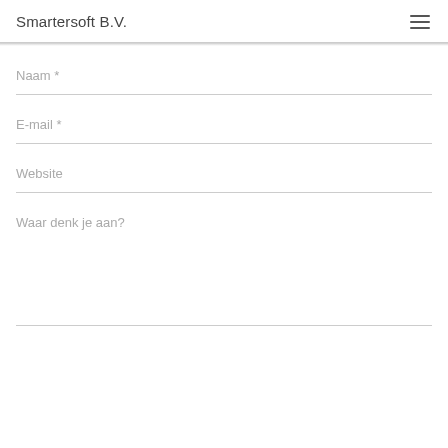Smartersoft B.V.
Naam *
E-mail *
Website
Waar denk je aan?